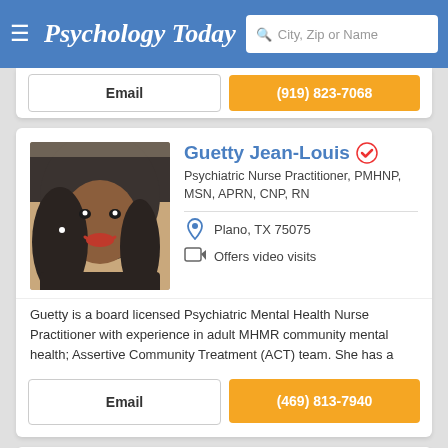Psychology Today — City, Zip or Name search
Email | (919) 823-7068
Guetty Jean-Louis
Psychiatric Nurse Practitioner, PMHNP, MSN, APRN, CNP, RN
Plano, TX 75075
Offers video visits
Guetty is a board licensed Psychiatric Mental Health Nurse Practitioner with experience in adult MHMR community mental health; Assertive Community Treatment (ACT) team. She has a
Email | (469) 813-7940
Mistee J Jefferies
Psychiatric Nurse Practitioner, PMHNP